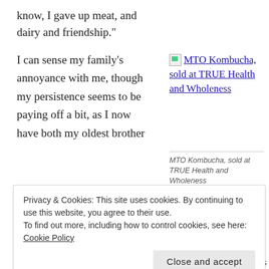know, I gave up meat, and dairy and friendship."
I can sense my family’s annoyance with me, though my persistence seems to be paying off a bit, as I now have both my oldest brother
[Figure (photo): Broken image placeholder with link text: MTO Kombucha, sold at TRUE Health and Wholeness]
MTO Kombucha, sold at TRUE Health and Wholeness
Privacy & Cookies: This site uses cookies. By continuing to use this website, you agree to their use.
To find out more, including how to control cookies, see here: Cookie Policy
Close and accept
On a recent family trip, I tried to sneak in some organic options or